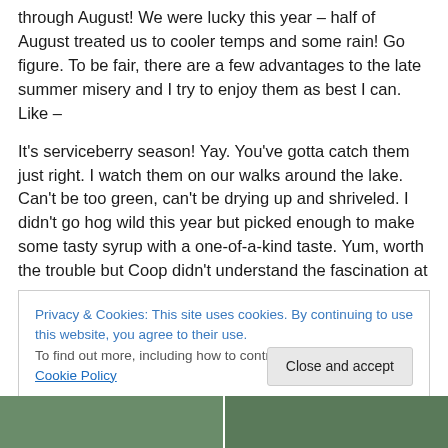through August!  We were lucky this year – half of August treated us to cooler temps and some rain!  Go figure.  To be fair, there are a few advantages to the late summer misery and I try to enjoy them as best I can.  Like  –
It's serviceberry season!  Yay.  You've gotta catch them just right.  I watch them on our walks around the lake.  Can't be too green, can't be drying up and shriveled.  I didn't go hog wild this year but picked enough to make some tasty syrup with a one-of-a-kind taste.  Yum, worth the trouble but Coop didn't understand the fascination at
Privacy & Cookies: This site uses cookies. By continuing to use this website, you agree to their use.
To find out more, including how to control cookies, see here: Cookie Policy
[Figure (photo): Two photos side by side at the bottom of the page, partially visible, appearing to show outdoor/nature scenes]